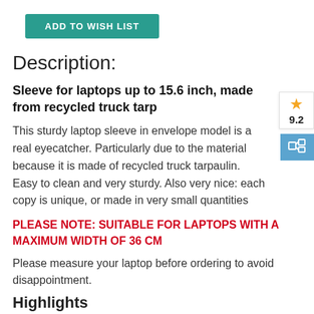ADD TO WISH LIST
Description:
Sleeve for laptops up to 15.6 inch, made from recycled truck tarp
This sturdy laptop sleeve in envelope model is a real eyecatcher. Particularly due to the material because it is made of recycled truck tarpaulin. Easy to clean and very sturdy. Also very nice: each copy is unique, or made in very small quantities
PLEASE NOTE: SUITABLE FOR LAPTOPS WITH A MAXIMUM WIDTH OF 36 CM
Please measure your laptop before ordering to avoid disappointment.
Highlights